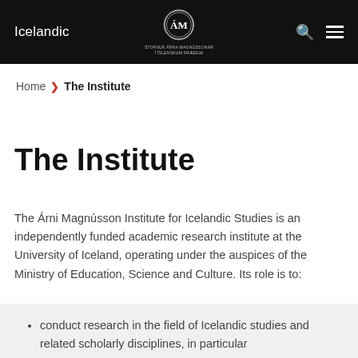Icelandic — Stofnun Árna Magnússonar í íslenskum fræðum
Home > The Institute
The Institute
The Árni Magnússon Institute for Icelandic Studies is an independently funded academic research institute at the University of Iceland, operating under the auspices of the Ministry of Education, Science and Culture. Its role is to:
conduct research in the field of Icelandic studies and related scholarly disciplines, in particular